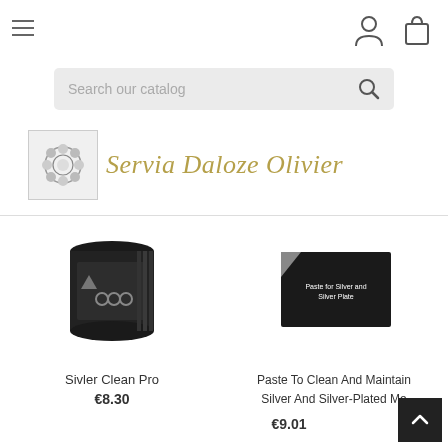[Figure (screenshot): E-commerce website header with hamburger menu, user icon, bag icon, search bar, and Servia Daloze Olivier brand logo with decorative floral/gear motif image]
[Figure (photo): Dark cylindrical product container - Sivler Clean Pro]
Sivler Clean Pro
€8.30
[Figure (photo): Black box packaging with white text - Paste for Silver and Silver Plate]
Paste To Clean And Maintain Silver And Silver-Plated Me
€9.01